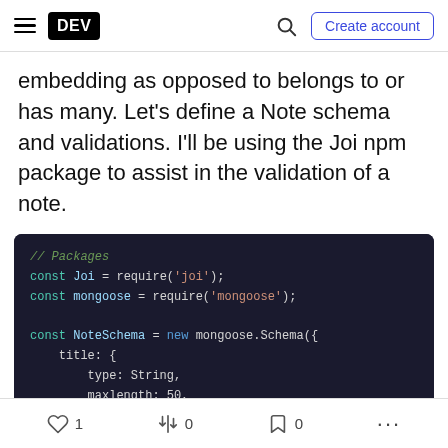DEV | Create account
embedding as opposed to belongs to or has many. Let's define a Note schema and validations. I'll be using the Joi npm package to assist in the validation of a note.
[Figure (screenshot): Code block showing JavaScript with Joi and Mongoose packages, defining a NoteSchema with title and content fields]
1 likes · 0 unicorns · 0 bookmarks · more options